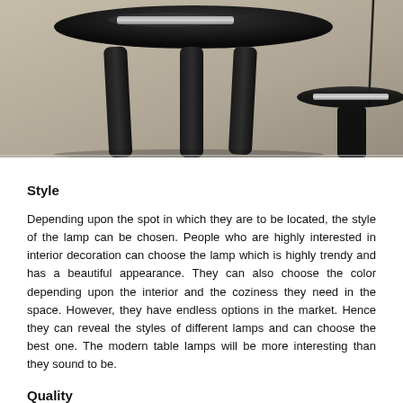[Figure (photo): Photo of modern black table lamps with round glossy black tabletops and thick legs, chrome/metal lamp base visible on the right, against a neutral beige/grey wall background.]
Style
Depending upon the spot in which they are to be located, the style of the lamp can be chosen. People who are highly interested in interior decoration can choose the lamp which is highly trendy and has a beautiful appearance. They can also choose the color depending upon the interior and the coziness they need in the space. However, they have endless options in the market. Hence they can reveal the styles of different lamps and can choose the best one. The modern table lamps will be more interesting than they sound to be.
Quality
Obviously when compared to other factors, quality of the lamp is more important. This is because it is not only concerned with the beauty but it should not affect the eyes at any extent. Hence one